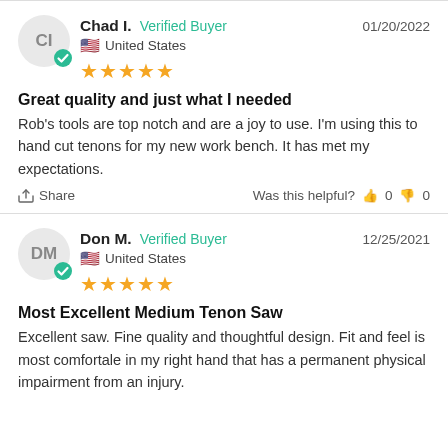Chad I. — Verified Buyer — 01/20/2022 — United States — ★★★★★
Great quality and just what I needed
Rob's tools are top notch and are a joy to use. I'm using this to hand cut tenons for my new work bench. It has met my expectations.
Share — Was this helpful? 👍 0 👎 0
Don M. — Verified Buyer — 12/25/2021 — United States — ★★★★★
Most Excellent Medium Tenon Saw
Excellent saw. Fine quality and thoughtful design. Fit and feel is most comfortale in my right hand that has a permanent physical impairment from an injury.